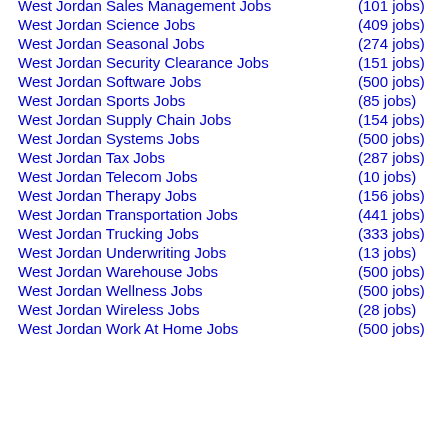West Jordan Sales Management Jobs  (101 jobs)
West Jordan Science Jobs  (409 jobs)
West Jordan Seasonal Jobs  (274 jobs)
West Jordan Security Clearance Jobs  (151 jobs)
West Jordan Software Jobs  (500 jobs)
West Jordan Sports Jobs  (85 jobs)
West Jordan Supply Chain Jobs  (154 jobs)
West Jordan Systems Jobs  (500 jobs)
West Jordan Tax Jobs  (287 jobs)
West Jordan Telecom Jobs  (10 jobs)
West Jordan Therapy Jobs  (156 jobs)
West Jordan Transportation Jobs  (441 jobs)
West Jordan Trucking Jobs  (333 jobs)
West Jordan Underwriting Jobs  (13 jobs)
West Jordan Warehouse Jobs  (500 jobs)
West Jordan Wellness Jobs  (500 jobs)
West Jordan Wireless Jobs  (28 jobs)
West Jordan Work At Home Jobs  (500 jobs)